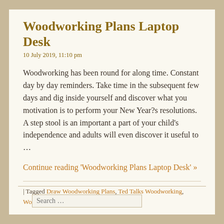Woodworking Plans Laptop Desk
10 July 2019, 11:10 pm
Woodworking has been round for along time. Constant day by day reminders. Take time in the subsequent few days and dig inside yourself and discover what you motivation is to perform your New Year?s resolutions. A step stool is an important a part of your child's independence and adults will even discover it useful to …
Continue reading ‘Woodworking Plans Laptop Desk’ »
| Tagged Draw Woodworking Plans, Ted Talks Woodworking, Woodworking Plans Corner Cabinet